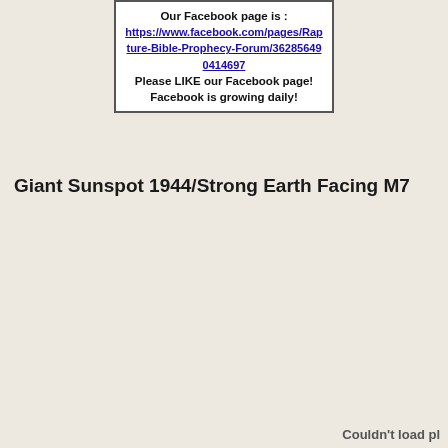Our Facebook page is : https://www.facebook.com/pages/Rapture-Bible-Prophecy-Forum/362856490414697 Please LIKE our Facebook page! Facebook is growing daily!
Giant Sunspot 1944/Strong Earth Facing M7
Couldn't load pl